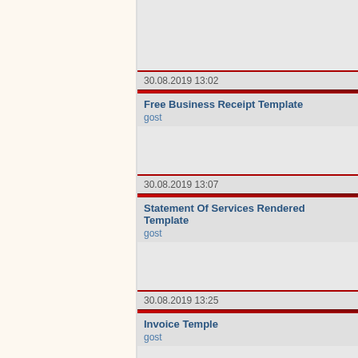30.08.2019 13:02
Free Business Receipt Template
gost
30.08.2019 13:07
Statement Of Services Rendered Template
gost
30.08.2019 13:25
Invoice Temple
gost
30.08.2019 13:31
Blank Printable Invoice
gost